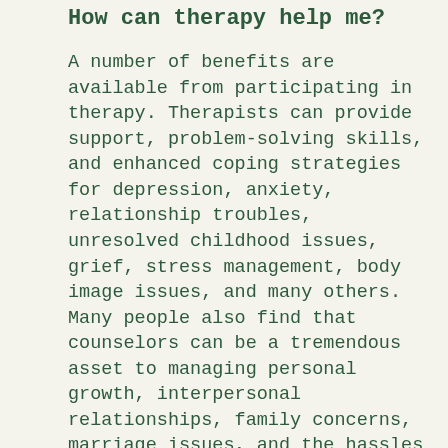How can therapy help me?
A number of benefits are available from participating in therapy. Therapists can provide support, problem-solving skills, and enhanced coping strategies for depression, anxiety, relationship troubles, unresolved childhood issues, grief, stress management, body image issues, and many others. Many people also find that counselors can be a tremendous asset to managing personal growth, interpersonal relationships, family concerns, marriage issues, and the hassles of daily life. Therapists can provide a fresh perspective on a difficult problem or point you in the direction of a solution. The benefits you obtain from therapy depend on how well you use the